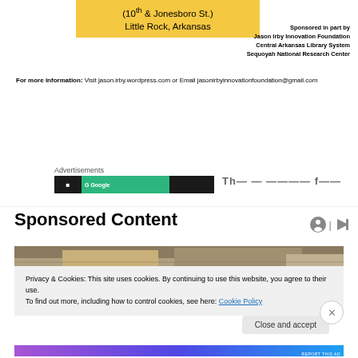(10th & Jonesboro St.) Little Rock, Arkansas
Sponsored in part by
Jason Irby Innovation Foundation
Central Arkansas Library System
Sequoyah National Research Center
For more information:  Visit jason.irby.wordpress.com or Email jasonirbyinnovationfoundation@gmail.com
Advertisements
[Figure (screenshot): Advertisement bar with Google Ads branding and truncated text]
Sponsored Content
[Figure (photo): Partial image of a house exterior with snow/winter trees]
Privacy & Cookies: This site uses cookies. By continuing to use this website, you agree to their use.
To find out more, including how to control cookies, see here: Cookie Policy
Close and accept